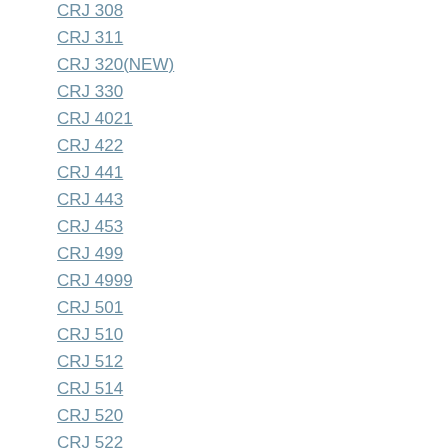CRJ 308
CRJ 311
CRJ 320(NEW)
CRJ 330
CRJ 4021
CRJ 422
CRJ 441
CRJ 443
CRJ 453
CRJ 499
CRJ 4999
CRJ 501
CRJ 510
CRJ 512
CRJ 514
CRJ 520
CRJ 522
CRJ 524
CRJ 550